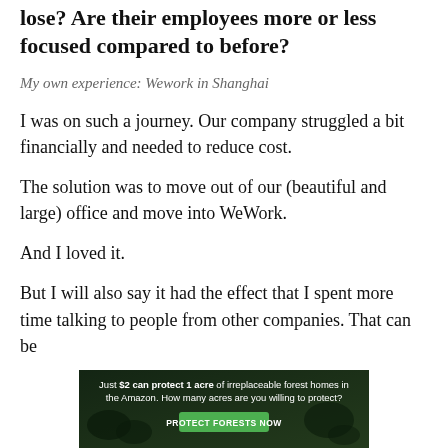lose? Are their employees more or less focused compared to before?
My own experience: Wework in Shanghai
I was on such a journey. Our company struggled a bit financially and needed to reduce cost.
The solution was to move out of our (beautiful and large) office and move into WeWork.
And I loved it.
But I will also say it had the effect that I spent more time talking to people from other companies. That can be
[Figure (infographic): Ad banner: dark forest background with text 'Just $2 can protect 1 acre of irreplaceable forest homes in the Amazon. How many acres are you willing to protect?' and a green 'PROTECT FORESTS NOW' button.]